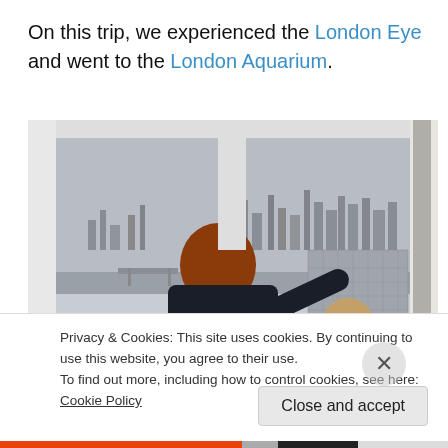On this trip, we experienced the London Eye and went to the London Aquarium.
[Figure (photo): Two children viewed from behind looking out the window of a London Eye pod at the London skyline and River Thames below. The boy on the left has red hair and wears a navy jacket with his arm pointing. The younger child on the right wears a red top.]
Privacy & Cookies: This site uses cookies. By continuing to use this website, you agree to their use.
To find out more, including how to control cookies, see here: Cookie Policy
Close and accept